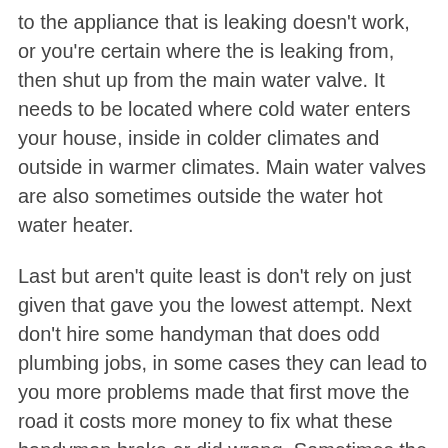to the appliance that is leaking doesn't work, or you're certain where the is leaking from, then shut up from the main water valve. It needs to be located where cold water enters your house, inside in colder climates and outside in warmer climates. Main water valves are also sometimes outside the water hot water heater.
Last but aren't quite least is don't rely on just given that gave you the lowest attempt. Next don't hire some handyman that does odd plumbing jobs, in some cases they can lead to you more problems made that first move the road it costs more money to fix what these handyman broke or did wrong. Sometimes the lowest bid is likely to cut corners and not do task